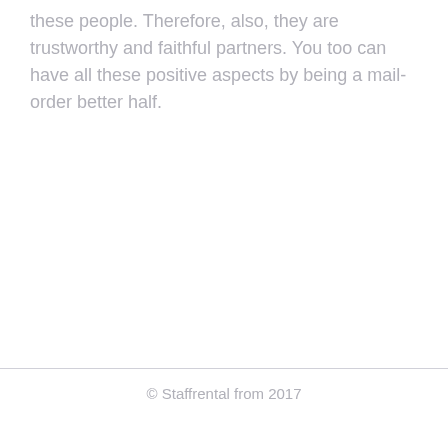these people. Therefore, also, they are trustworthy and faithful partners. You too can have all these positive aspects by being a mail-order better half.
© Staffrental from 2017